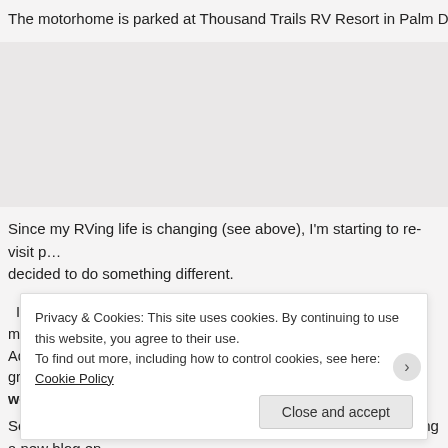The motorhome is parked at Thousand Trails RV Resort in Palm Des…
[Figure (photo): Photograph of an RV motorhome parked at a resort, partially visible]
Since my RVing life is changing (see above), I'm starting to re-visit p… decided to do something different.
In 2011-2013, Mary and I did a 682 day, 12,679 miles in the motorhome and 8,… Adventure. I called it so because other than my oldest granddaughter's high sch… would be there!
So, unless I do something really different and unusual warranting a new blog en…
Privacy & Cookies: This site uses cookies. By continuing to use this website, you agree to their use. To find out more, including how to control cookies, see here: Cookie Policy
Close and accept